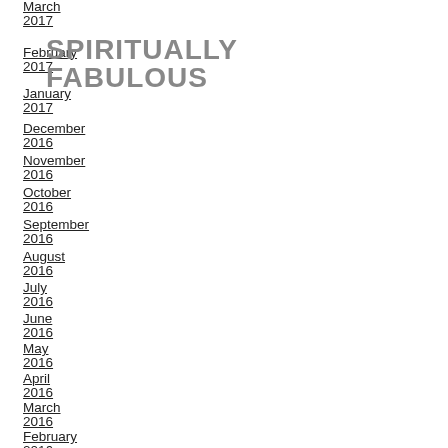SPIRITUALLY FABULOUS
March 2017
February 2017
January 2017
December 2016
November 2016
October 2016
September 2016
August 2016
July 2016
June 2016
May 2016
April 2016
March 2016
February 2016
January 2016
December 2015
November 2015
October 2015
September 2015